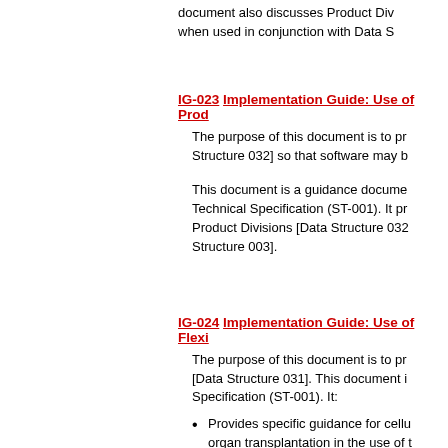document also discusses Product Divisions when used in conjunction with Data S
IG-023 Implementation Guide: Use of Prod
The purpose of this document is to provide guidance on Structure 032] so that software may b
This document is a guidance document Technical Specification (ST-001). It provides guidance on Product Divisions [Data Structure 032 Structure 003].
IG-024 Implementation Guide: Use of Flexi
The purpose of this document is to provide guidance on [Data Structure 031]. This document is Specification (ST-001). It:
Provides specific guidance for cellular organ transplantation in the use of th
Provides guidance on printing bar co
Addresses some concerns for softw